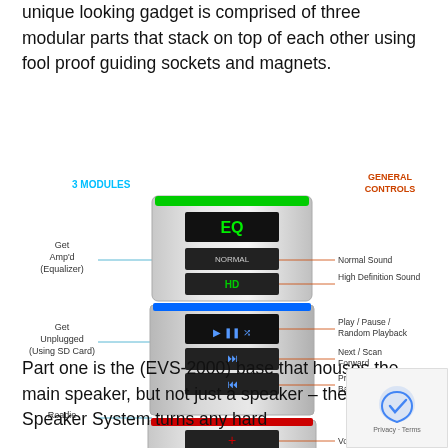unique looking gadget is comprised of three modular parts that stack on top of each other using fool proof guiding sockets and magnets.
[Figure (illustration): Diagram of a modular speaker system with three stacked modules. Left side labels in blue: '3 MODULES', 'Get Amp'd (Equalizer)', 'Get Unplugged (Using SD Card)', 'Roadie'. Right side labels in orange/red: 'GENERAL CONTROLS'. Red lines point to controls labeled: 'Normal Sound', 'High Definition Sound', 'Play / Pause / Random Playback', 'Next / Scan Forward', 'Previous / Scan Backward', 'Volume Up', 'Volume Down', 'Microphone Mute', 'Power ON/OFF (Press and hold to turn on)'. The top module shows 'EQ' in green, middle module shows playback buttons in blue, bottom module shows volume/power controls in red.]
Part one is the (EVS-2000) base that houses the main speaker, but not just a speaker – the Roadie Speaker System turns any hard